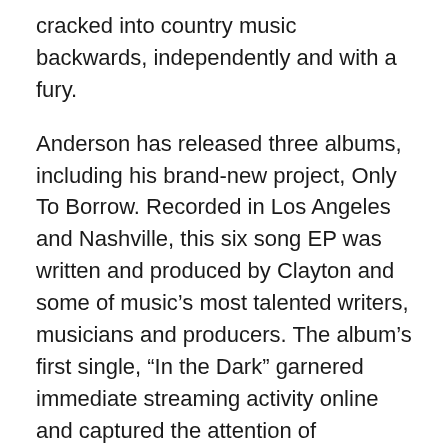cracked into country music backwards, independently and with a fury.
Anderson has released three albums, including his brand-new project, Only To Borrow. Recorded in Los Angeles and Nashville, this six song EP was written and produced by Clayton and some of music's most talented writers, musicians and producers. The album's first single, “In the Dark” garnered immediate streaming activity online and captured the attention of influential music playlist programmers. Armed with new music and an electric live show, Clayton Anderson is not only here to stay, but a force to be reckoned with.
General admission tickets for the concert start at $40 and access to the Firestone Concert Pit near the front of the stage is set for $75. Prices will increase closer to the